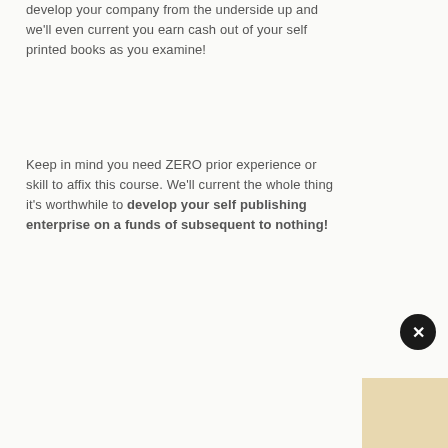develop your company from the underside up and we'll even current you earn cash out of your self printed books as you examine!
Keep in mind you need ZERO prior experience or skill to affix this course. We'll current the whole thing it's worthwhile to develop your self publishing enterprise on a funds of subsequent to nothing!